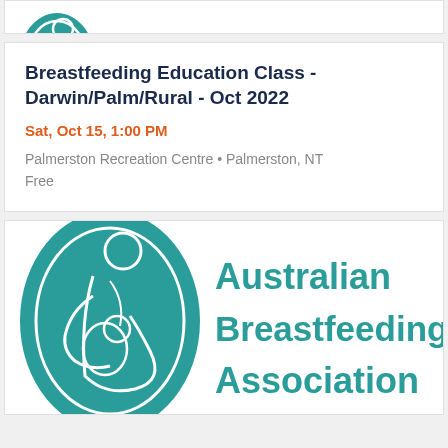[Figure (logo): Partial teal breastfeeding logo at top of page, cropped]
Breastfeeding Education Class - Darwin/Palm/Rural - Oct 2022
Sat, Oct 15, 1:00 PM
Palmerston Recreation Centre • Palmerston, NT
Free
[Figure (logo): Australian Breastfeeding Association logo with teal oval illustration of mother and baby on left, and text 'Australian Breastfeeding Association' in bold teal on right]